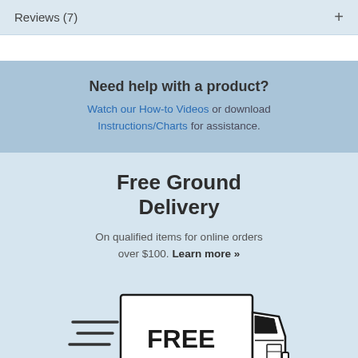Reviews (7)
Need help with a product?
Watch our How-to Videos or download Instructions/Charts for assistance.
Free Ground Delivery
On qualified items for online orders over $100. Learn more »
[Figure (illustration): A delivery truck illustration with the word FREE on its side, with motion lines indicating speed, rendered in black and white line art style.]